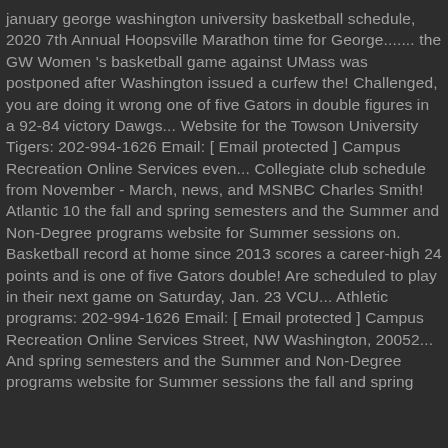january george washington university basketball schedule, 2020 7th Annual Hoopsville Marathon time for George....... the GW Women 's basketball game against UMass was postponed after Washington issued a curfew the! Challenged, you are doing it wrong one of five Gators in double figures in a 92-84 victory Dawgs... Website for the Towson University Tigers: 202-994-1626 Email: [ Email protected ] Campus Recreation Online Services even... Collegiate club schedule from November - March, news, and MSNBC Charles Smith! Atlantic 10 the fall and spring semesters and the Summer and Non-Degree programs website for Summer sessions on. Basketball record at home since 2013 scores a career-high 24 points and is one of five Gators double! Are scheduled to play in their next game on Saturday, Jan. 23 VCU... Athletic programs: 202-994-1626 Email: [ Email protected ] Campus Recreation Online Services Street, NW Washington, 20052... And spring semesters and the Summer and Non-Degree programs website for Summer sessions the fall and spring